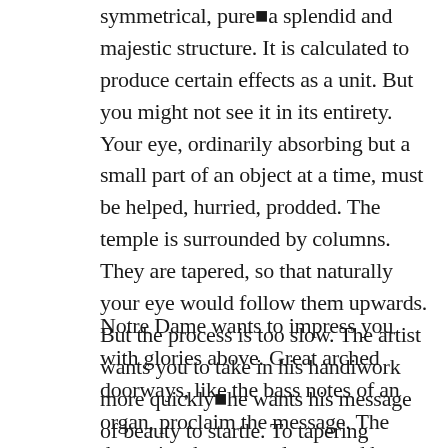symmetrical, pure—a splendid and majestic structure. It is calculated to produce certain effects as a unit. But you might not see it in its entirety. Your eye, ordinarily absorbing but a small part of an object at a time, must be helped, hurried, prodded. The temple is surrounded by columns. They are tapered, so that naturally your eye would follow them upwards. But the process is too slow. The artist wants you to take in his handiwork more quickly—he wants his message of beauty to startle. To tapering columns he adds fluting. Your eye rushes upon these grooves, it shoots up on the tracks laid for it.
Notre Dame wants to impress you with glories above. Great arched doorways, like the bass notes of an organ, proclaim the message. The theme is taken up and repeated by windows with pointed arches, then